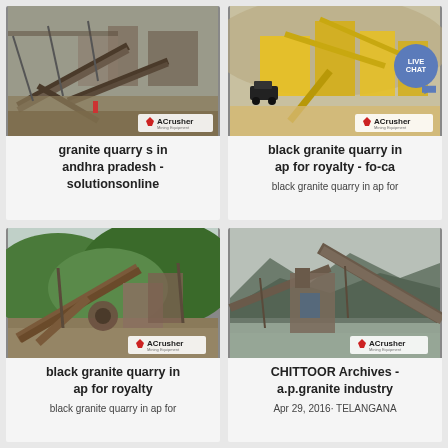[Figure (photo): Mining/quarry conveyor equipment facility - granite quarry]
granite quarry s in andhra pradesh - solutionsonline
[Figure (photo): Open-pit quarry with yellow heavy machinery and conveyor systems, LIVE CHAT bubble overlay]
black granite quarry in ap for royalty - fo-ca
black granite quarry in ap for
[Figure (photo): Quarry processing plant with conveyors and machinery, lush green hills background]
black granite quarry in ap for royalty
black granite quarry in ap for
[Figure (photo): Granite quarry processing facility with conveyors and industrial equipment]
CHITTOOR Archives - a.p.granite industry
Apr 29, 2016· TELANGANA